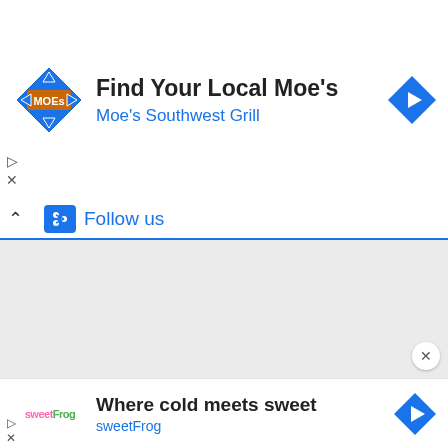[Figure (screenshot): Moe's Southwest Grill ad banner with logo, title 'Find Your Local Moe's', subtitle 'Moe's Southwest Grill', and a blue navigation arrow icon on the right.]
[Figure (screenshot): Follow us panel with blue icon and 'Follow us' text in blue, blue underline, gray content area, and close X button.]
[Figure (screenshot): sweetFrog ad banner with logo, title 'Where cold meets sweet', subtitle 'sweetFrog', and a blue navigation arrow icon on the right.]